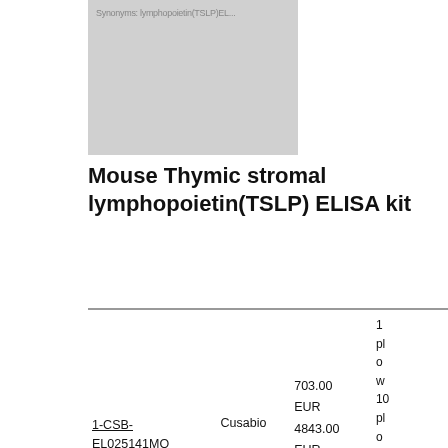[Figure (photo): Product image placeholder with watermark text for Mouse Thymic stromal lymphopoietin TSLP ELISA kit]
Mouse Thymic stromal lymphopoietin(TSLP) ELISA kit
| Catalog No. | Supplier | Price | Description |
| --- | --- | --- | --- |
| 1-CSB-EL025141MO | Cusabio | 703.00 EUR
4843.00 EUR
2570.00 EUR | 1 pl o w 10 pl o w ea 5 pl o w |